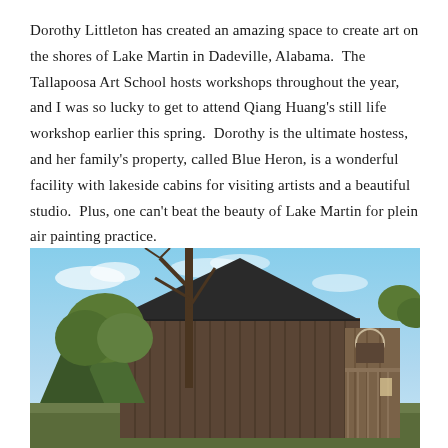Dorothy Littleton has created an amazing space to create art on the shores of Lake Martin in Dadeville, Alabama.  The Tallapoosa Art School hosts workshops throughout the year, and I was so lucky to get to attend Qiang Huang's still life workshop earlier this spring.  Dorothy is the ultimate hostess, and her family's property, called Blue Heron, is a wonderful facility with lakeside cabins for visiting artists and a beautiful studio.  Plus, one can't beat the beauty of Lake Martin for plein air painting practice.
[Figure (photo): Exterior photo of a barn-like wooden studio building with a dark metal roof, surrounded by trees with bare and leafy branches, under a partly cloudy blue sky. The building has vertical wood siding and a covered porch/balcony on the right side.]